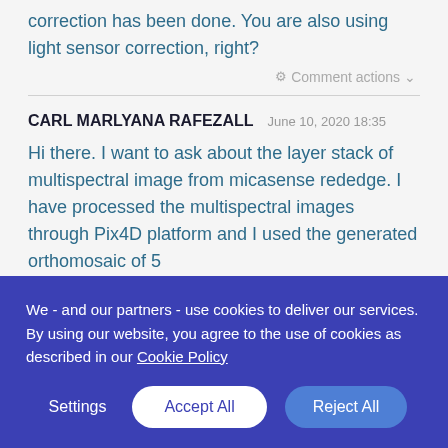correction has been done. You are also using light sensor correction, right?
Comment actions ▾
CARL MARLYANA RAFEZALL   June 10, 2020 18:35
Hi there. I want to ask about the layer stack of multispectral image from micasense rededge. I have processed the multispectral images through Pix4D platform and I used the generated orthomosaic of 5
We - and our partners - use cookies to deliver our services. By using our website, you agree to the use of cookies as described in our Cookie Policy
Settings   Accept All   Reject All